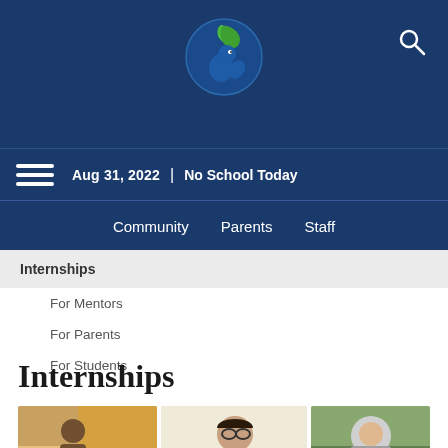[Figure (logo): School logo: circular emblem with blue background, green leaf/bird design and squirrel silhouette]
Aug 31, 2022 | No School Today
Community   Parents   Staff
Internships
For Mentors
For Parents
For Students
Internships
[Figure (photo): Three thumbnail photos of students/people in internship settings]
[Figure (photo): Young woman with glasses standing indoors]
[Figure (photo): Child or person with gear/equipment outdoors]